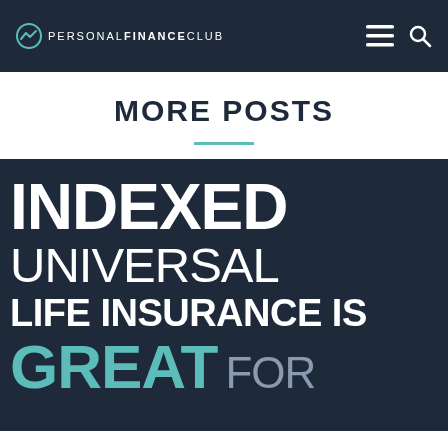PERSONAL FINANCE CLUB
MORE POSTS
[Figure (infographic): Dark navy background infographic with large bold white text reading 'INDEXED UNIVERSAL LIFE INSURANCE IS GREAT FOR' - promotional image for Personal Finance Club article about Indexed Universal Life Insurance]